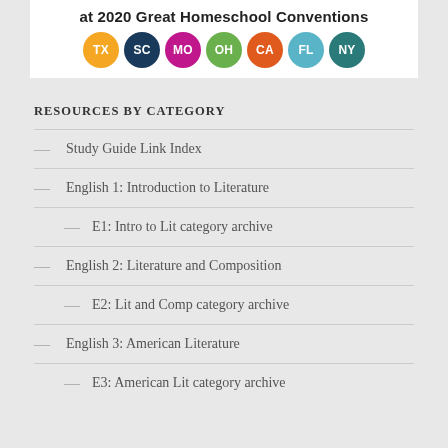[Figure (illustration): Banner showing 'at 2020 Great Homeschool Conventions' with colored circles for TX, SC, MO, OH, CA, FL, NY state abbreviations]
RESOURCES BY CATEGORY
Study Guide Link Index
English 1: Introduction to Literature
E1: Intro to Lit category archive
English 2: Literature and Composition
E2: Lit and Comp category archive
English 3: American Literature
E3: American Lit category archive